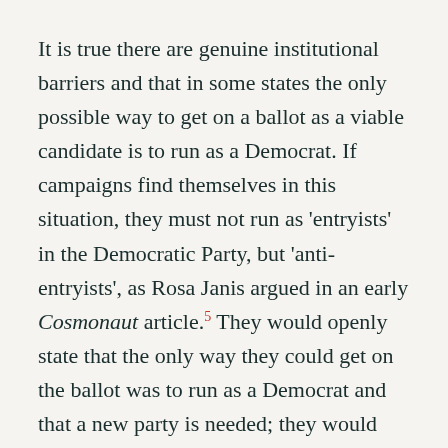It is true there are genuine institutional barriers and that in some states the only possible way to get on a ballot as a viable candidate is to run as a Democrat. If campaigns find themselves in this situation, they must not run as 'entryists' in the Democratic Party, but 'anti-entryists', as Rosa Janis argued in an early Cosmonaut article.5 They would openly state that the only way they could get on the ballot was to run as a Democrat and that a new party is needed; they would fight to pass legislation that would weaken the two-party system and caucus with other socialists rather than other Democrats.
Until the next convention, there is little we can do